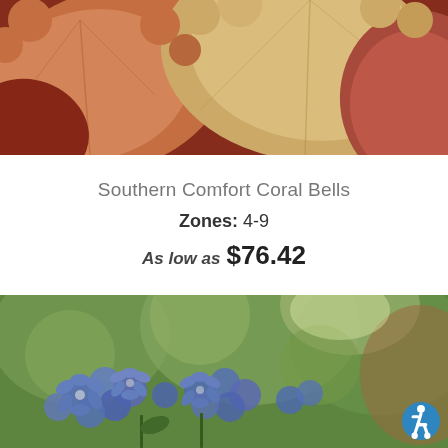[Figure (photo): Close-up of coral bells (Heuchera) leaves in warm peachy-orange, red, and cream tones]
Southern Comfort Coral Bells
Zones: 4-9
As low as $76.42
[Figure (photo): Close-up of small blue flowers (plumbago or similar) with green bokeh background]